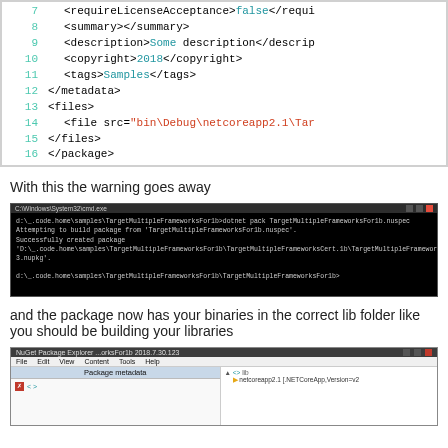[Figure (screenshot): Code editor showing XML lines 7-16 with syntax highlighting: line numbers in teal, XML tags in black, values in blue/red]
With this the warning goes away
[Figure (screenshot): Terminal window (black background) showing dotnet pack command output with success message for TargetMultipleFrameworks package]
and the package now has your binaries in the correct lib folder like you should be building your libraries
[Figure (screenshot): NuGet Package Explorer window showing package metadata panel on left and lib folder tree on right]